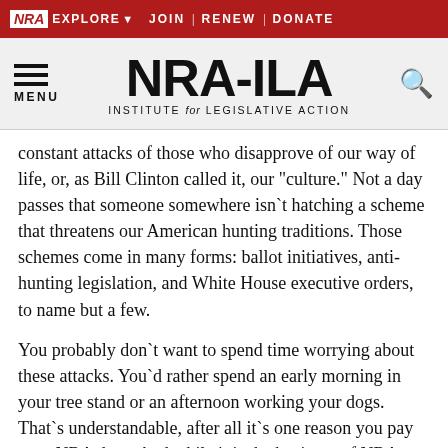NRA EXPLORE  JOIN | RENEW | DONATE
[Figure (logo): NRA-ILA Institute for Legislative Action logo with hamburger menu and search icon]
constant attacks of those who disapprove of our way of life, or, as Bill Clinton called it, our "culture." Not a day passes that someone somewhere isn`t hatching a scheme that threatens our American hunting traditions. Those schemes come in many forms: ballot initiatives, anti-hunting legislation, and White House executive orders, to name but a few.
You probably don`t want to spend time worrying about these attacks. You`d rather spend an early morning in your tree stand or an afternoon working your dogs. That`s understandable, after all it`s one reason you pay your NRA dues. And while it is the business of NRA to fight to protect your rights, we need your help.
The first way you can help is simple -- vote. Maybe that sounds